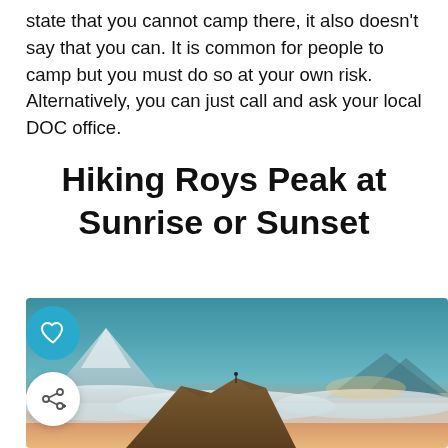state that you cannot camp there, it also doesn't say that you can. It is common for people to camp but you must do so at your own risk. Alternatively, you can just call and ask your local DOC office.
Hiking Roys Peak at Sunrise or Sunset
[Figure (photo): A hiker stands on a rocky mountain ridge above clouds at sunrise or sunset, with snow-capped mountains visible in the background under a teal and orange sky.]